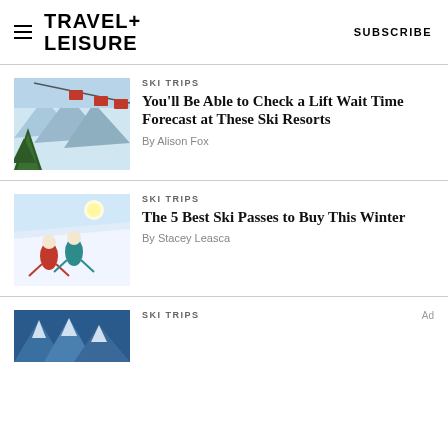TRAVEL+ LEISURE   SUBSCRIBE
SKI TRIPS
You'll Be Able to Check a Lift Wait Time Forecast at These Ski Resorts
By Alison Fox
SKI TRIPS
The 5 Best Ski Passes to Buy This Winter
By Stacey Leasca
SKI TRIPS